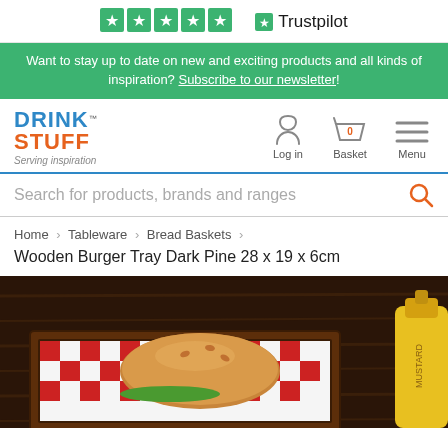[Figure (logo): Trustpilot rating stars and logo]
Want to stay up to date on new and exciting products and all kinds of inspiration? Subscribe to our newsletter!
[Figure (logo): DrinkStuff logo with Log in, Basket, Menu navigation icons]
Search for products, brands and ranges
Home > Tableware > Bread Baskets > Wooden Burger Tray Dark Pine 28 x 19 x 6cm
[Figure (photo): Product photo of wooden burger tray (dark pine) with a burger bun, red and white checkered paper, and a mustard bottle on a dark wooden table]